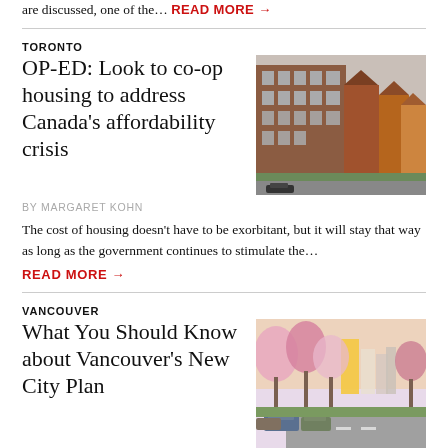are discussed, one of the… READ MORE →
TORONTO
OP-ED: Look to co-op housing to address Canada's affordability crisis
[Figure (photo): Brick co-op housing buildings on a street]
BY MARGARET KOHN
The cost of housing doesn't have to be exorbitant, but it will stay that way as long as the government continues to stimulate the…
READ MORE →
VANCOUVER
What You Should Know about Vancouver's New City Plan
[Figure (photo): Vancouver street lined with cherry blossom trees and parked cars, with high-rise buildings in background]
BY CHRISTOPHER CHEUNG
By Christopher Cheung and Jen St. Denis It's here at last… Vancouver's